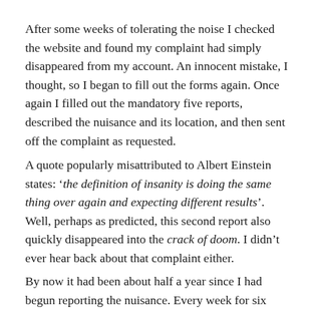After some weeks of tolerating the noise I checked the website and found my complaint had simply disappeared from my account. An innocent mistake, I thought, so I began to fill out the forms again. Once again I filled out the mandatory five reports, described the nuisance and its location, and then sent off the complaint as requested.
A quote popularly misattributed to Albert Einstein states: 'the definition of insanity is doing the same thing over again and expecting different results'. Well, perhaps as predicted, this second report also quickly disappeared into the crack of doom. I didn't ever hear back about that complaint either.
By now it had been about half a year since I had begun reporting the nuisance. Every week for six months my